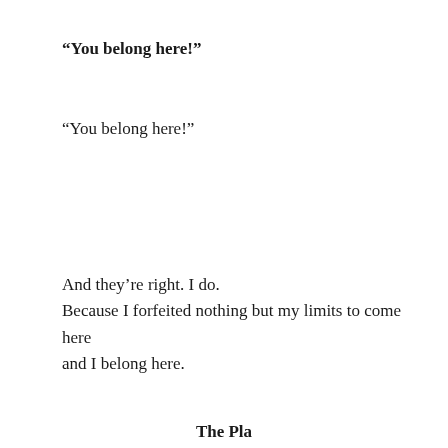“You belong here!”
“You belong here!”
And they’re right. I do.
Because I forfeited nothing but my limits to come here
and I belong here.
The Pla...